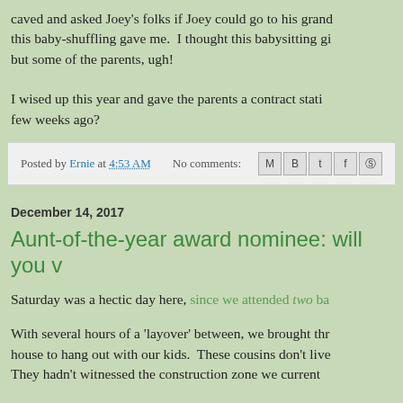caved and asked Joey's folks if Joey could go to his grand... this baby-shuffling gave me. I thought this babysitting gi... but some of the parents, ugh!
I wised up this year and gave the parents a contract stati... few weeks ago?
Posted by Ernie at 4:53 AM   No comments:
December 14, 2017
Aunt-of-the-year award nominee: will you v
Saturday was a hectic day here, since we attended two ba
With several hours of a 'layover' between, we brought thr... house to hang out with our kids. These cousins don't live... They hadn't witnessed the construction zone we current...
As we pulled into the driveway in our former airport-shut...